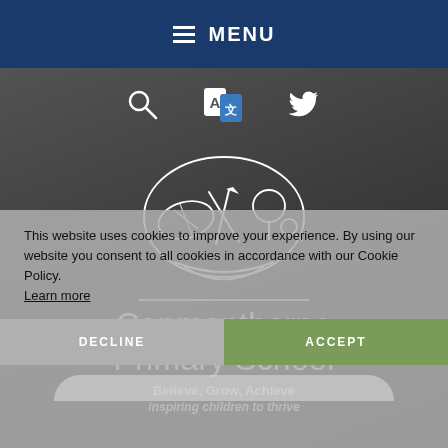MENU
[Figure (logo): Copmanthorpe Primary School logo — line drawing of hands holding a rugby ball, pencil/paintbrush, tree, and magnifying glass in a shield-like oval shape]
Copmanthorpe Primary School
Believe, Grow, Achieve
inspiring children to thrive
This website uses cookies to improve your experience. By using our website you consent to all cookies in accordance with our Cookie Policy. Learn more
DECLINE
ACCEPT